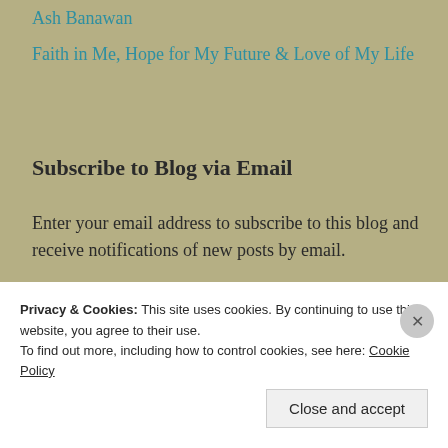Ash Banawan
Faith in Me, Hope for My Future & Love of My Life
Subscribe to Blog via Email
Enter your email address to subscribe to this blog and receive notifications of new posts by email.
Enter your email address
Subscribe
Privacy & Cookies: This site uses cookies. By continuing to use this website, you agree to their use.
To find out more, including how to control cookies, see here: Cookie Policy
Close and accept